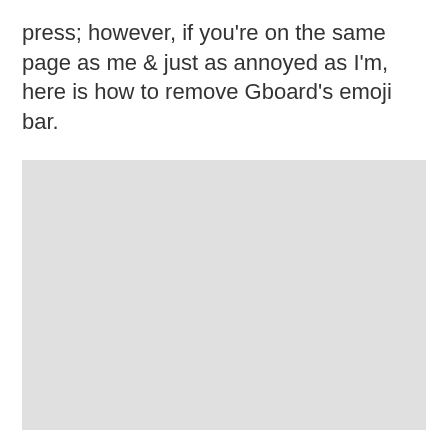press; however, if you're on the same page as me & just as annoyed as I'm, here is how to remove Gboard's emoji bar.
[Figure (screenshot): A light gray rectangular placeholder image area occupying the lower portion of the page.]